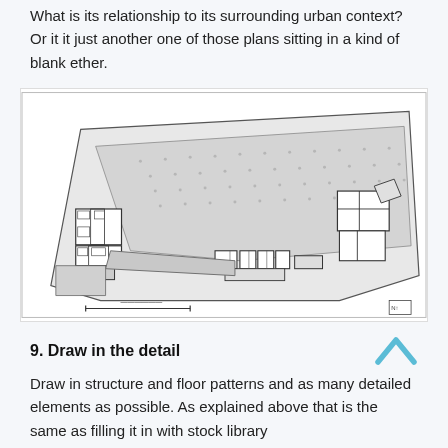What is its relationship to its surrounding urban context? Or it it just another one of those plans sitting in a kind of blank ether.
[Figure (engineering-diagram): Architectural floor plan showing a trapezoidal site with building footprints, open areas with dotted hatching, several rectangular room clusters on the left and right sides, and a long linear element running diagonally. Scale bar at bottom.]
9. Draw in the detail
Draw in structure and floor patterns and as many detailed elements as possible. As explained above that is the same as filling it in with stock library